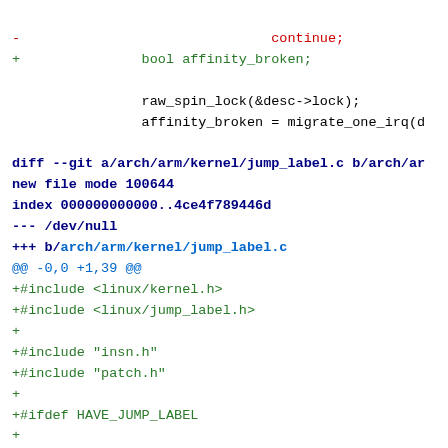Code diff showing removal of 'continue;' and addition of 'bool affinity_broken;', then a new file diff for arch/arm/kernel/jump_label.c with added includes and function definition